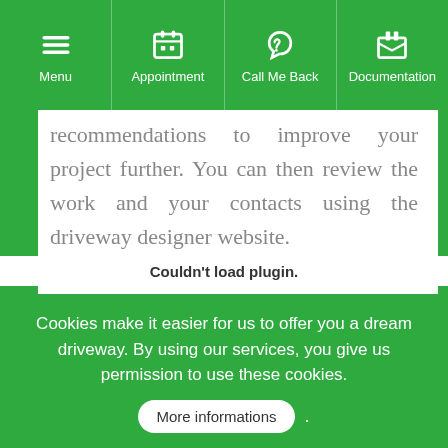Menu | Appointment | Call Me Back | Documentation
recommendations to improve your project further. You can then review the work and your contacts using the driveway designer website.
Couldn't load plugin.
Cookies make it easier for us to offer you a dream driveway. By using our services, you give us permission to use these cookies. More informations .